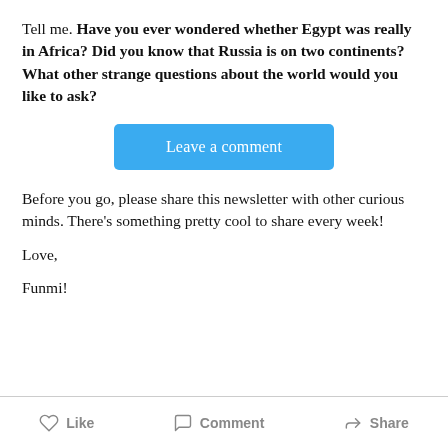Tell me. Have you ever wondered whether Egypt was really in Africa? Did you know that Russia is on two continents? What other strange questions about the world would you like to ask?
[Figure (other): Blue 'Leave a comment' button]
Before you go, please share this newsletter with other curious minds. There's something pretty cool to share every week!
Love,
Funmi!
Like   Comment   Share